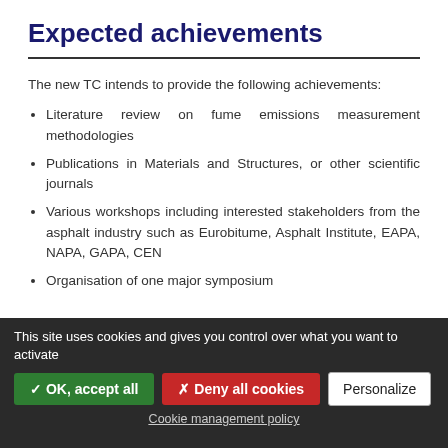Expected achievements
The new TC intends to provide the following achievements:
Literature review on fume emissions measurement methodologies
Publications in Materials and Structures, or other scientific journals
Various workshops including interested stakeholders from the asphalt industry such as Eurobitume, Asphalt Institute, EAPA, NAPA, GAPA, CEN
Organisation of one major symposium
This site uses cookies and gives you control over what you want to activate
✓ OK, accept all | ✗ Deny all cookies | Personalize
Cookie management policy